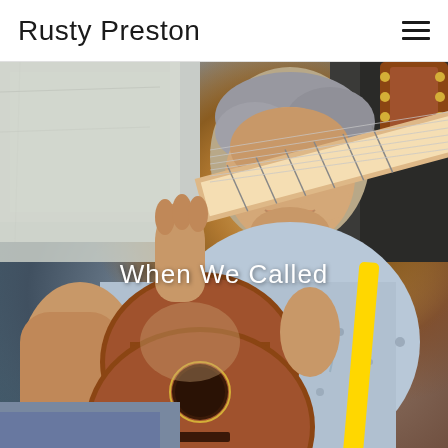Rusty Preston
[Figure (photo): A smiling middle-aged man with grey hair playing an acoustic guitar outdoors. He is wearing a light blue floral shirt and has a yellow guitar strap. The background shows a weathered white painted door or wall. Text overlay reads 'When We Called'.]